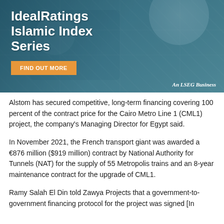[Figure (illustration): Advertisement banner for IdealRatings Islamic Index Series by LSEG Business, showing an aerial view of a mosque/building with teal and blue tones. Contains title 'IdealRatings Islamic Index Series' and a 'FIND OUT MORE' button in orange, with 'An LSEG Business' text at bottom right.]
Alstom has secured competitive, long-term financing covering 100 percent of the contract price for the Cairo Metro Line 1 (CML1) project, the company's Managing Director for Egypt said.
In November 2021, the French transport giant was awarded a €876 million ($919 million) contract by National Authority for Tunnels (NAT) for the supply of 55 Metropolis trains and an 8-year maintenance contract for the upgrade of CML1.
Ramy Salah El Din told Zawya Projects that a government-to-government financing protocol for the project was signed [In